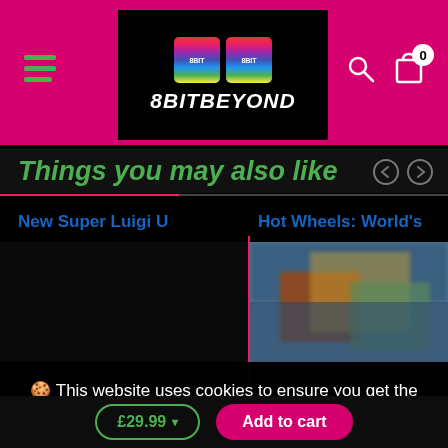[Figure (logo): 8BitBeyond logo on pink header with hamburger menu, search icon, and cart icon with 0 badge]
Things you may also like
New Super Luigi U
Hot Wheels: World's ...
[Figure (photo): Blurred product image for Hot Wheels World's Best Driver game]
🍪 This website uses cookies to ensure you get the best experience on our website. Learn more
Got it!
£29.99
Add to cart